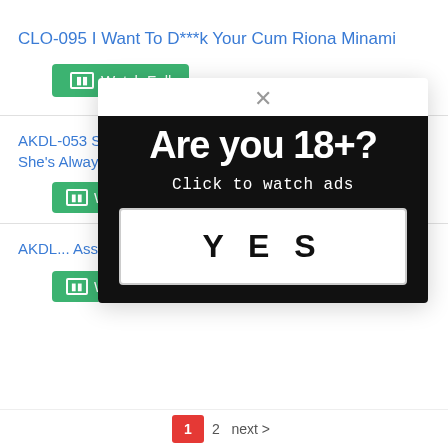CLO-095 I Want To D***k Your Cum Riona Minami
Watch Full
AKDL-053 She's My Very Own Personal Sex Machine, And She's Always Sucking, Licking, Drooling...
W...
AKDL... Assistant... Man She M...
[Figure (screenshot): Age verification modal dialog with black background. Large white bold text reads 'Are you 18+?' followed by smaller text 'Click to watch ads' and a white YES button with bold black text.]
1